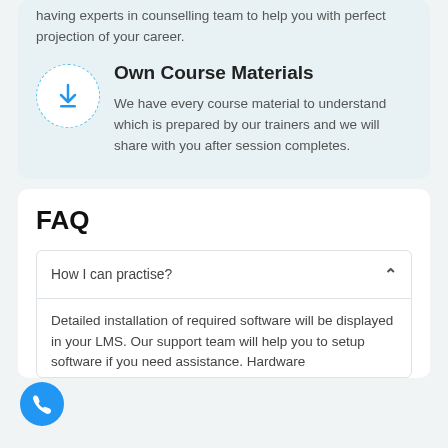having experts in counselling team to help you with perfect projection of your career.
[Figure (illustration): Blue download icon inside a dashed circle border]
Own Course Materials
We have every course material to understand which is prepared by our trainers and we will share with you after session completes.
FAQ
How I can practise?
Detailed installation of required software will be displayed in your LMS. Our support team will help you to setup software if you need assistance. Hardware